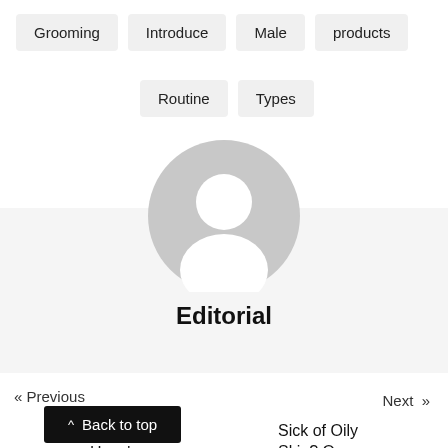Grooming
Introduce
Male
products
Routine
Types
[Figure (illustration): Generic user avatar placeholder — grey circle with white silhouette of a person (head and shoulders)]
Editorial
« Previous
Next »
^ Back to top
'st-
Have'
Sick of Oily
Skin? Our